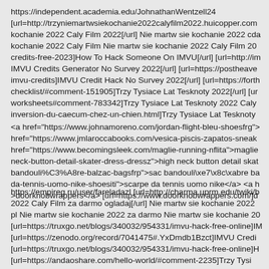https://independent.academia.edu/JohnathanWentzell24
[url=http://trzyniemartwsiekochanie2022calyfilm2022.huicopper.com
kochanie 2022 Caly Film 2022[/url] Nie martw sie kochanie 2022 cda
kochanie 2022 Caly Film Nie martw sie kochanie 2022 Caly Film 20
credits-free-2023]How To Hack Someone On IMVU[/url] [url=http://i
IMVU Credits Generator No Survey 2022[/url] [url=https://postheave
imvu-credits]IMVU Credit Hack No Survey 2022[/url] [url=https://fort
checklist/#comment-151905]Trzy Tysiace Lat Tesknoty 2022[/url] [ur
worksheets#comment-783342]Trzy Tysiace Lat Tesknoty 2022 Caly
inversion-du-caecum-chez-un-chien.html]Trzy Tysiace Lat Tesknoty
<a href="https://www.johnamoreno.com/jordan-flight-bleu-shoesfrg">
href="https://www.jmlaroccabooks.com/vesica-piscis-zapatos-sneak
href="https://www.becomingsleek.com/maglie-running-nflita">maglie
neck-button-detail-skater-dress-dressz">high neck button detail skat
bandouli%C3%A8re-balzac-bagsfrp">sac bandouli\xe7\x8c\xabre ba
da-tennis-uomo-nike-shoesiti">scarpe da tennis uomo nike</a> <a h
>doorknobwrappers</a> [url=https://www.doorknobwrappers.com/]d
https://empireg.ru/user/fareladazl [url=http://charma.uprm.edu/twiki/b
2022 Caly Film za darmo ogladaj[/url] Nie martw sie kochanie 2022
pl Nie martw sie kochanie 2022 za darmo Nie martw sie kochanie 20
[url=https://truxgo.net/blogs/340032/954331/imvu-hack-free-online]IM
[url=https://zenodo.org/record/7041475#.YxDmdb1Bzct]IMVU Credi
[url=https://truxgo.net/blogs/340032/954331/imvu-hack-free-online]H
[url=https://andaoshare.com/hello-world/#comment-2235]Trzy Tysi